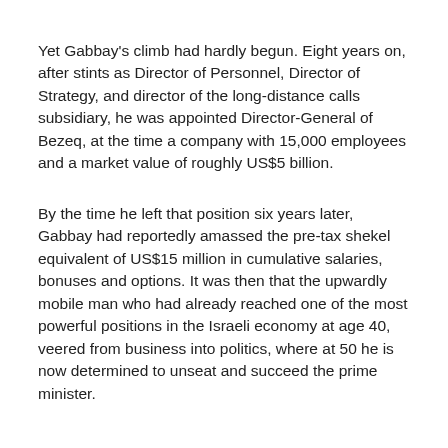Yet Gabbay's climb had hardly begun. Eight years on, after stints as Director of Personnel, Director of Strategy, and director of the long-distance calls subsidiary, he was appointed Director-General of Bezeq, at the time a company with 15,000 employees and a market value of roughly US$5 billion.
By the time he left that position six years later, Gabbay had reportedly amassed the pre-tax shekel equivalent of US$15 million in cumulative salaries, bonuses and options. It was then that the upwardly mobile man who had already reached one of the most powerful positions in the Israeli economy at age 40, veered from business into politics, where at 50 he is now determined to unseat and succeed the prime minister.
For Labor, this turn of events was until recently unthinkable. Labor's seven prime ministers were of two types: Zionist pioneers of the pre-state period, or products of the post-1948 defence establishment. A corporate businessman was unthinkable – until now.